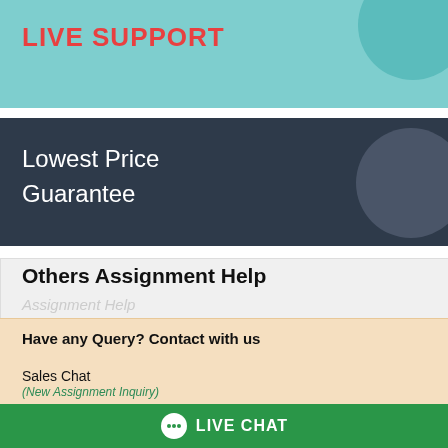LIVE SUPPORT
Lowest Price Guarantee
Others Assignment Help
Have any Query? Contact with us
Sales Chat
(New Assignment Inquiry)
Support Chat
(Assignment Already Booked)
Chemistry Assignment Help
LIVE CHAT